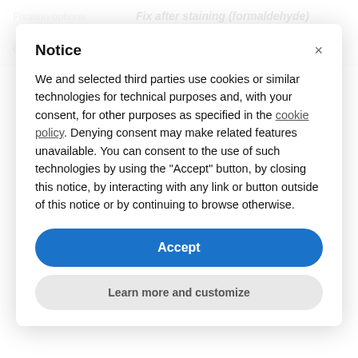|  |  |
| --- | --- |
| Fixation options | Fix after staining (formaldehyde) |
| Colors | Near-infrared |
We and selected third parties use cookies or similar technologies for technical purposes and, with your consent, for other purposes as specified in the cookie policy. Denying consent may make related features unavailable. You can consent to the use of such technologies by using the "Accept" button, by closing this notice, by interacting with any link or button outside of this notice or by continuing to browse otherwise.
Accept
Learn more and customize